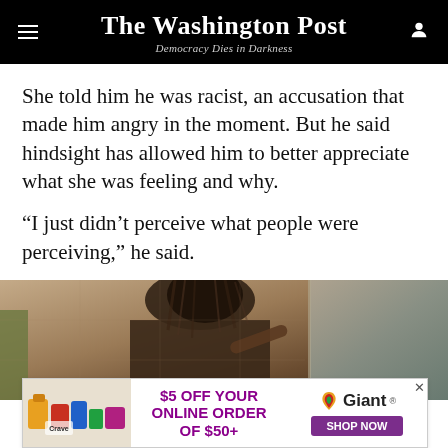The Washington Post — Democracy Dies in Darkness
She told him he was racist, an accusation that made him angry in the moment. But he said hindsight has allowed him to better appreciate what she was feeling and why.
“I just didn’t perceive what people were perceiving,” he said.
[Figure (photo): A person looking in a mirror in what appears to be a bathroom with tile walls]
[Figure (infographic): Advertisement for Giant grocery: $5 OFF YOUR ONLINE ORDER OF $50+ with Giant logo and SHOP NOW button]